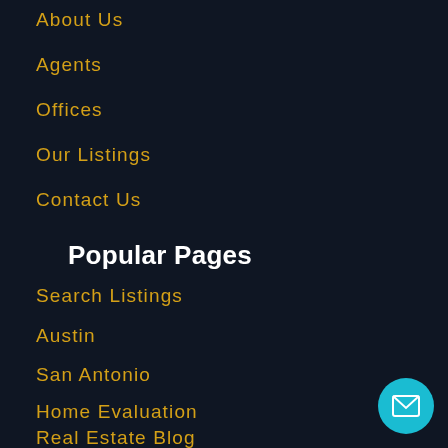About Us
Agents
Offices
Our Listings
Contact Us
Popular Pages
Search Listings
Austin
San Antonio
Home Evaluation
Real Estate Blog